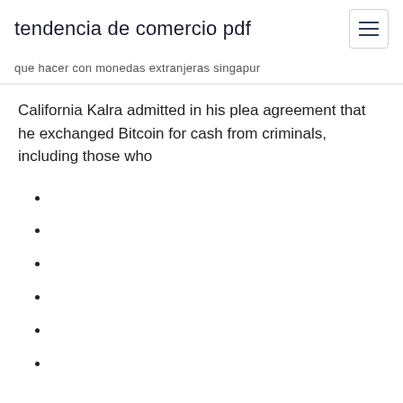tendencia de comercio pdf
que hacer con monedas extranjeras singapur
California Kalra admitted in his plea agreement that he exchanged Bitcoin for cash from criminals, including those who